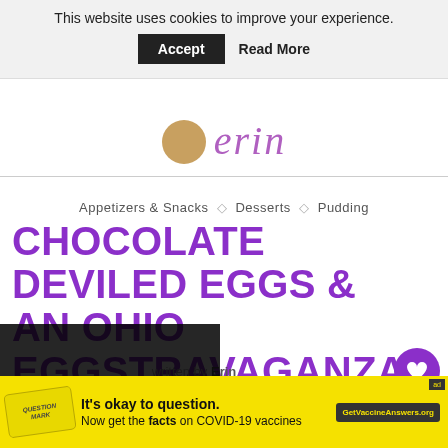This website uses cookies to improve your experience. Accept  Read More
[Figure (logo): Partial script logo in purple cursive on white background with horizontal rule]
Appetizers & Snacks  ◇  Desserts  ◇  Pudding
CHOCOLATE DEVILED EGGS & AN OHIO EGGSTRAVAGANZA
written by Erin
October 9, 2015
Put your experimental pants on and open your mind to chocolate deviled eggs — it will
[Figure (infographic): Yellow ad banner: It's okay to question. Now get the facts on COVID-19 vaccines. GetVaccineAnswers.org]